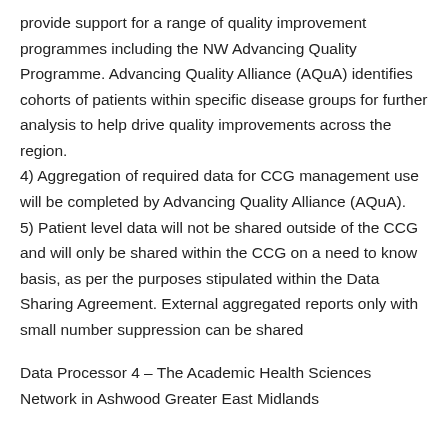provide support for a range of quality improvement programmes including the NW Advancing Quality Programme. Advancing Quality Alliance (AQuA) identifies cohorts of patients within specific disease groups for further analysis to help drive quality improvements across the region.
4) Aggregation of required data for CCG management use will be completed by Advancing Quality Alliance (AQuA).
5) Patient level data will not be shared outside of the CCG and will only be shared within the CCG on a need to know basis, as per the purposes stipulated within the Data Sharing Agreement. External aggregated reports only with small number suppression can be shared
Data Processor 4 – The Academic Health Sciences Network in Ashwood Greater East Midlands